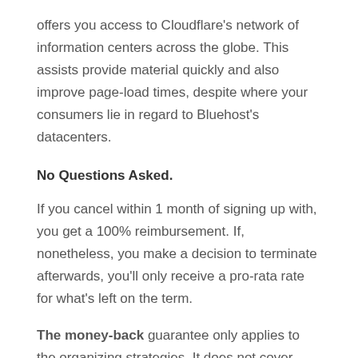offers you access to Cloudflare's network of information centers across the globe. This assists provide material quickly and also improve page-load times, despite where your consumers lie in regard to Bluehost's datacenters.
No Questions Asked.
If you cancel within 1 month of signing up with, you get a 100% reimbursement. If, nonetheless, you make a decision to terminate afterwards, you'll only receive a pro-rata rate for what's left on the term.
The money-back guarantee only applies to the organizing strategies. It does not cover most add-on products, including domains (see below).
Your account has no terms that you devote to complying with. There are nothing else penalties or concealed prices if you require